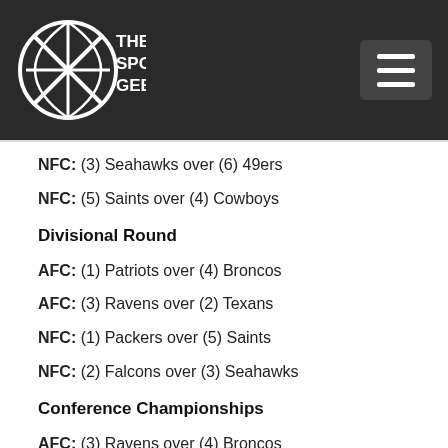The Sports Geeks
NFC: (3) Seahawks over (6) 49ers
NFC: (5) Saints over (4) Cowboys
Divisional Round
AFC: (1) Patriots over (4) Broncos
AFC: (3) Ravens over (2) Texans
NFC: (1) Packers over (5) Saints
NFC: (2) Falcons over (3) Seahawks
Conference Championships
AFC: (3) Ravens over (4) Broncos
NFC: (2) Falcons over (1) Pack...